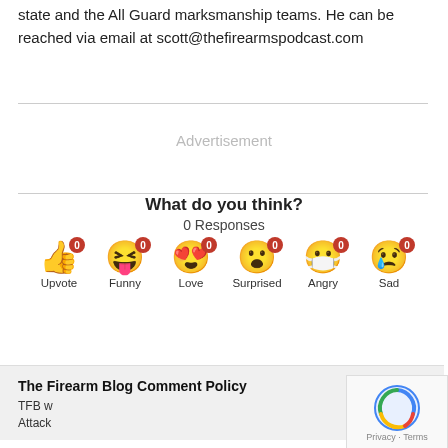state and the All Guard marksmanship teams. He can be reached via email at scott@thefirearmspodcast.com
Advertisement
What do you think?
0 Responses
[Figure (infographic): Reaction buttons row: Upvote (thumbs up emoji, 0), Funny (laughing emoji, 0), Love (heart eyes emoji, 0), Surprised (surprised emoji, 0), Angry (mask emoji, 0), Sad (sad emoji, 0)]
The Firearm Blog Comment Policy
TFB w
Attack